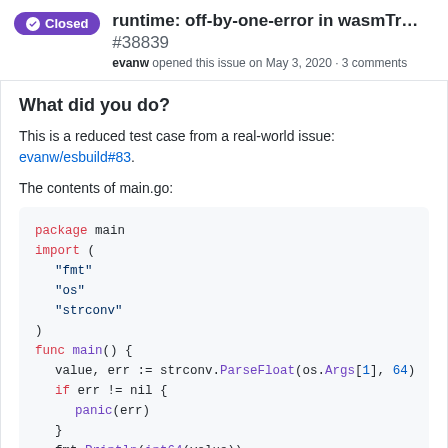runtime: off-by-one-error in wasmTr… #38839 — evanw opened this issue on May 3, 2020 · 3 comments — Closed
What did you do?
This is a reduced test case from a real-world issue: evanw/esbuild#83.
The contents of main.go:
package main

import (
    "fmt"
    "os"
    "strconv"
)

func main() {
    value, err := strconv.ParseFloat(os.Args[1], 64)
    if err != nil {
        panic(err)
    }
    fmt.Println(int64(value))